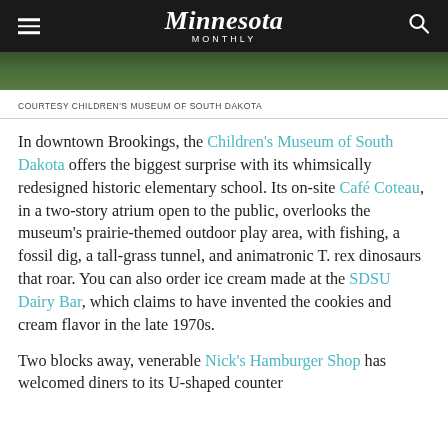Minnesota Monthly
[Figure (photo): Partial view of an outdoor area, likely at the Children's Museum of South Dakota, showing greenery.]
COURTESY CHILDREN'S MUSEUM OF SOUTH DAKOTA
In downtown Brookings, the Children's Museum of South Dakota offers the biggest surprise with its whimsically redesigned historic elementary school. Its on-site Café Coteau, in a two-story atrium open to the public, overlooks the museum's prairie-themed outdoor play area, with fishing, a fossil dig, a tall-grass tunnel, and animatronic T. rex dinosaurs that roar. You can also order ice cream made at the SDSU Dairy Bar, which claims to have invented the cookies and cream flavor in the late 1970s.
Two blocks away, venerable Nick's Hamburger Shop has welcomed diners to its U-shaped counter